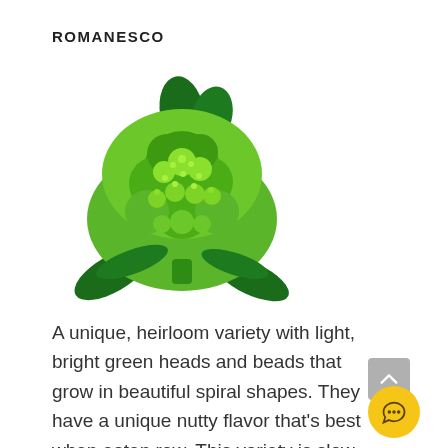ROMANESCO
[Figure (illustration): Illustration of a romanesco broccoli head with bright green fractal spiral florets and dark green leaves at the base and top.]
A unique, heirloom variety with light, bright green heads and beads that grow in beautiful spiral shapes. They have a unique nutty flavor that’s best when eaten raw. This variety is slow growing, taking more than 70 days to mature.